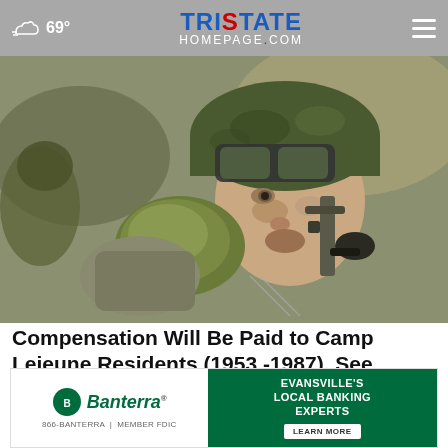69° TristateHomepage.com
[Figure (photo): Close-up photo of a soldier in full combat gear including helmet with goggles, tactical equipment, and gloves, drinking from a military canteen or flask. The soldier appears to be female and is in an outdoor environment.]
Compensation Will Be Paid to Camp Lejeune Residents (1953 -1987). See Why
Consumer Coalition
[Figure (logo): Banterra Bank advertisement banner. Left side white background with Banterra logo (green circle with white design) and italic green Banterra text, with '866-BANTERRA | MEMBER FDIC' below. Right side green background with white text 'EVANSVILLE'S LOCAL BANKING EXPERTS' and a 'LEARN MORE' button.]